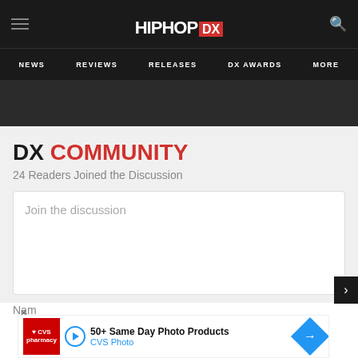HipHopDX — NEWS | REVIEWS | RELEASES | DX AWARDS | MORE
DX COMMUNITY
24 Readers Joined the Discussion
Join the discussion
Nam
[Figure (screenshot): CVS Photo advertisement banner: 50+ Same Day Photo Products - CVS Photo]